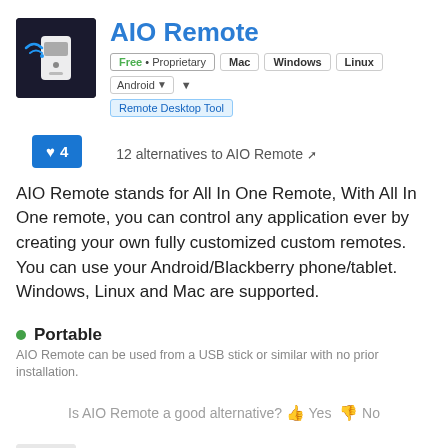[Figure (screenshot): App icon for AIO Remote — dark background with white remote/phone graphic and blue WiFi wave icon]
AIO Remote
Free • Proprietary  Mac  Windows  Linux  Android
Remote Desktop Tool
♥ 4
12 alternatives to AIO Remote
AIO Remote stands for All In One Remote, With All In One remote, you can control any application ever by creating your own fully customized custom remotes. You can use your Android/Blackberry phone/tablet. Windows, Linux and Mac are supported.
Portable
AIO Remote can be used from a USB stick or similar with no prior installation.
Is AIO Remote a good alternative? 👍 Yes 👎 No
ControlPC